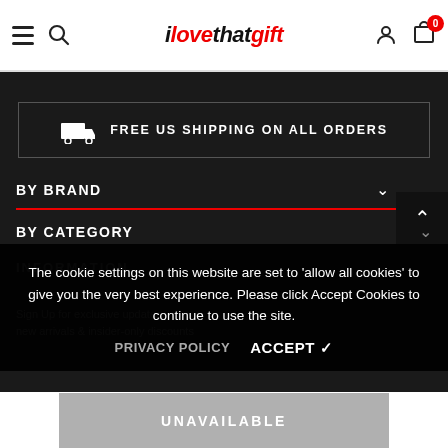ilovethatgift — navigation header with hamburger, search, user, cart (0 items)
FREE US SHIPPING ON ALL ORDERS
BY BRAND
BY CATEGORY
INFORMATION
The cookie settings on this website are set to 'allow all cookies' to give you the very best experience. Please click Accept Cookies to continue to use the site.
PRIVACY POLICY    ACCEPT ✓
Sign Up for exclusive updates, new arrivals & insider-only discounts
UNAVAILABLE